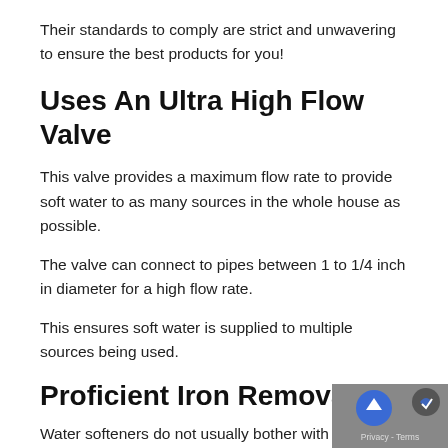Their standards to comply are strict and unwavering to ensure the best products for you!
Uses An Ultra High Flow Valve
This valve provides a maximum flow rate to provide soft water to as many sources in the whole house as possible.
The valve can connect to pipes between 1 to 1/4 inch in diameter for a high flow rate.
This ensures soft water is supplied to multiple sources being used.
Proficient Iron Removal
Water softeners do not usually bother with iron removal before presenting softening…